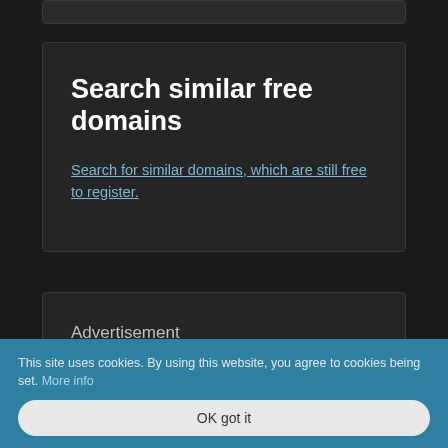Search similar free domains
Search for similar domains, which are still free to register.
Advertisement
This site uses cookies. By using this website, you agree to cookies being set. More info
OK got it